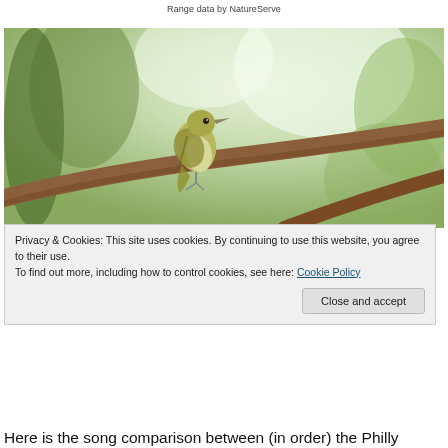Range data by NatureServe
[Figure (photo): A small olive-yellow bird perched on a brown branch, with blurred green tree foliage in the background]
Privacy & Cookies: This site uses cookies. By continuing to use this website, you agree to their use.
To find out more, including how to control cookies, see here: Cookie Policy
Close and accept
Here is the song comparison between (in order) the Philly